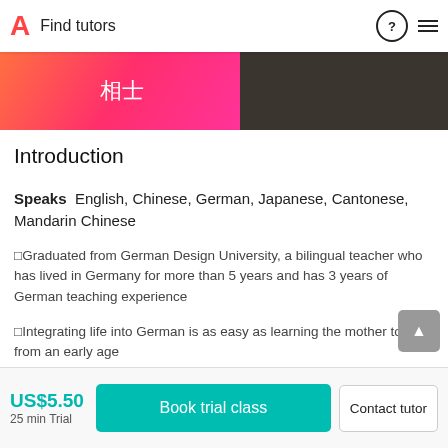A Find tutors
[Figure (photo): Banner with gradient pink/orange background on left with Chinese characters, dark textured background on right]
Introduction
Speaks  English, Chinese, German, Japanese, Cantonese, Mandarin Chinese
Graduated from German Design University, a bilingual teacher who has lived in Germany for more than 5 years and has 3 years of German teaching experience
Integrating life into German is as easy as learning the mother tongue from an early age
Find out your blind spots and provide course materials a…
US$5.50  25 min Trial   Book trial class   Contact tutor